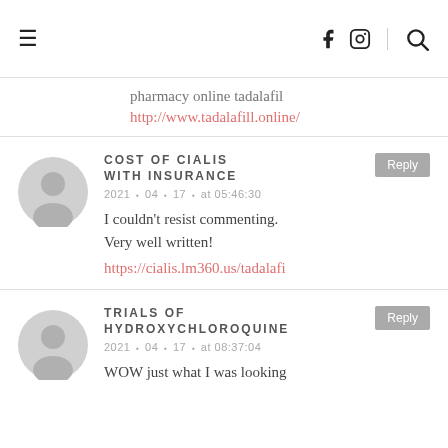≡  f  [instagram]  [search]
pharmacy online tadalafil
http://www.tadalafill.online/
COST OF CIALIS WITH INSURANCE
2021 • 04 • 17 • at 05:46:30
I couldn't resist commenting. Very well written!
https://cialis.lm360.us/tadalafi
TRIALS OF HYDROXYCHLOROQUINE
2021 • 04 • 17 • at 08:37:04
WOW just what I was looking